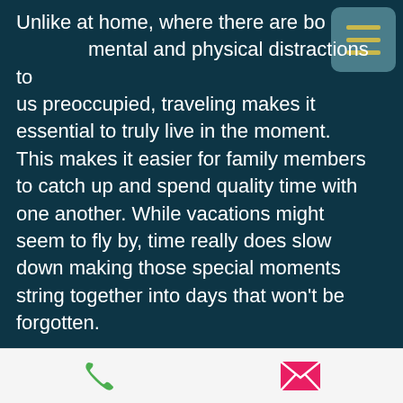Unlike at home, where there are both mental and physical distractions to keep us preoccupied, traveling makes it essential to truly live in the moment. This makes it easier for family members to catch up and spend quality time with one another. While vacations might seem to fly by, time really does slow down making those special moments string together into days that won't be forgotten.

There's truly no better feeling than getting to explore new destinations with the ones you love. Travel will help strengthen your relationships with family and friends.
[Figure (screenshot): Mobile app bottom navigation bar with a green phone icon on the left and a pink/red envelope icon on the right, on a light grey background.]